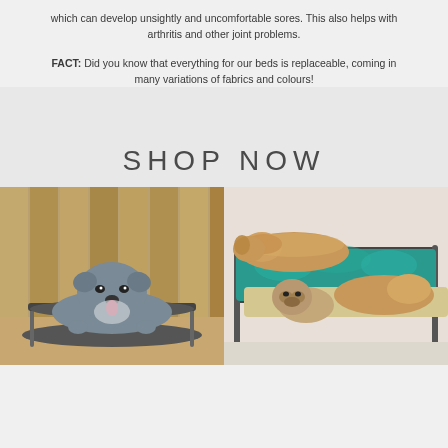which can develop unsightly and uncomfortable sores. This also helps with arthritis and other joint problems.
FACT: Did you know that everything for our beds is replaceable, coming in many variations of fabrics and colours!
SHOP NOW
[Figure (photo): A blue-grey Staffordshire Bull Terrier puppy lying on a raised metal mesh dog bed outdoors on wooden decking, with wooden fence panels in background, tongue slightly out.]
[Figure (photo): Two golden/brown fluffy dogs and a pug lying on a teal/turquoise sheepskin cover on a raised metal dog bed frame indoors.]